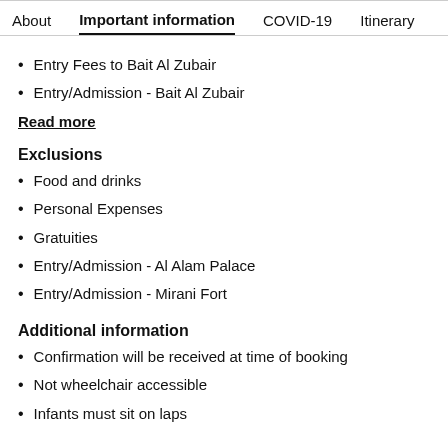About   Important information   COVID-19   Itinerary
Entry Fees to Bait Al Zubair
Entry/Admission - Bait Al Zubair
Read more
Exclusions
Food and drinks
Personal Expenses
Gratuities
Entry/Admission - Al Alam Palace
Entry/Admission - Mirani Fort
Additional information
Confirmation will be received at time of booking
Not wheelchair accessible
Infants must sit on laps